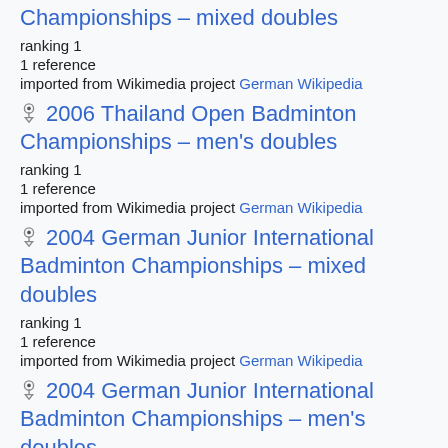Championships – mixed doubles
ranking 1
1 reference
imported from Wikimedia project German Wikipedia
2006 Thailand Open Badminton Championships – men's doubles
ranking 1
1 reference
imported from Wikimedia project German Wikipedia
2004 German Junior International Badminton Championships – mixed doubles
ranking 1
1 reference
imported from Wikimedia project German Wikipedia
2004 German Junior International Badminton Championships – men's doubles